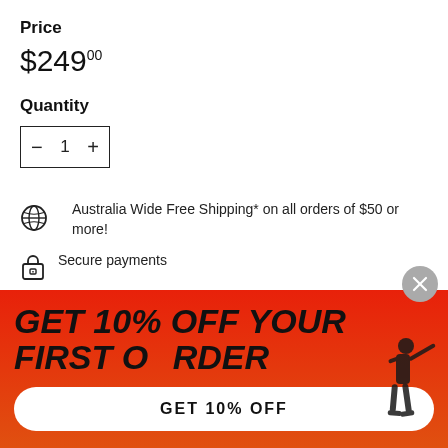Price
$249.00
Quantity
- 1 +
Australia Wide Free Shipping* on all orders of $50 or more!
Secure payments
Tax included. Shipping calculated at checkout.
GET 10% OFF YOUR FIRST ORDER
GET 10% OFF